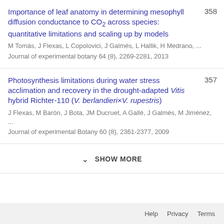Importance of leaf anatomy in determining mesophyll diffusion conductance to CO2 across species: quantitative limitations and scaling up by models — 358 — M Tomás, J Flexas, L Copolovici, J Galmés, L Hallik, H Medrano, ... — Journal of experimental botany 64 (8), 2269-2281, 2013
Photosynthesis limitations during water stress acclimation and recovery in the drought-adapted Vitis hybrid Richter-110 (V. berlandieri×V. rupestris) — 357 — J Flexas, M Barón, J Bota, JM Ducruet, A Gallé, J Galmés, M Jiménez, ... — Journal of experimental Botany 60 (8), 2361-2377, 2009
SHOW MORE
Help  Privacy  Terms